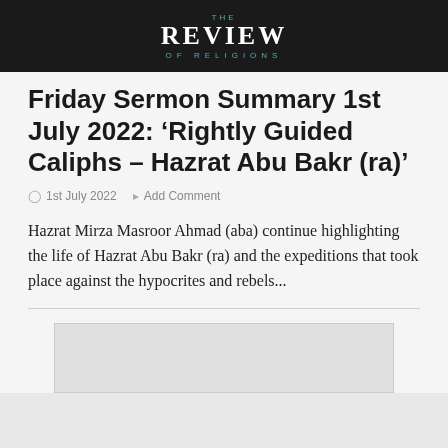THE REVIEW OF RELIGIONS
Friday Sermon Summary 1st July 2022: ‘Rightly Guided Caliphs – Hazrat Abu Bakr (ra)’
1st July 2022   Add Comment
Hazrat Mirza Masroor Ahmad (aba) continue highlighting the life of Hazrat Abu Bakr (ra) and the expeditions that took place against the hypocrites and rebels...
[Figure (photo): Partial image placeholder at bottom of page]